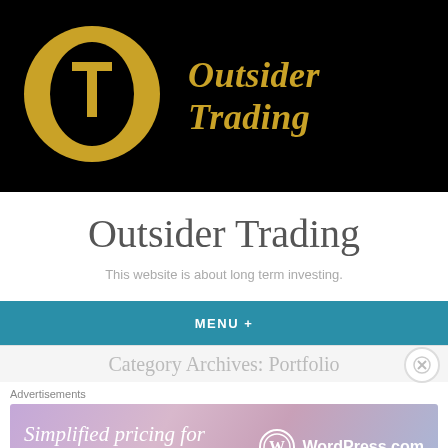[Figure (logo): Outsider Trading website header banner with black background, gold circular O logo with T inside, and 'Outsider Trading' text in gold italic serif font]
Outsider Trading
This website is about long term investing.
MENU +
Category Archives: Portfolio
Advertisements
[Figure (illustration): WordPress.com advertisement banner with gradient background showing 'Simplified pricing for everything you need.' text and WordPress.com logo]